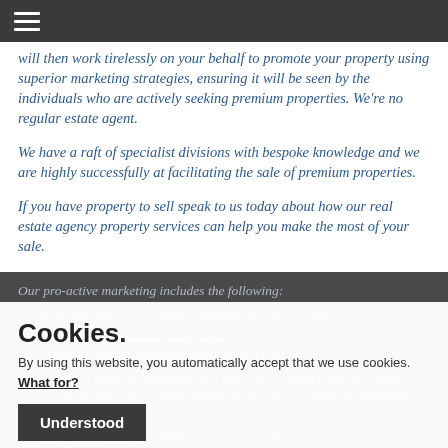≡ (hamburger menu)
will then work tirelessly on your behalf to promote your property using superior marketing strategies, ensuring it will be seen by the individuals who are actively seeking premium properties. We're no regular estate agent.
We have a raft of specialist divisions with bespoke knowledge and we are highly successfully at facilitating the sale of premium properties.
If you have property to sell speak to us today about how our real estate agency property services can help you make the most of your sale.
Our pro-active marketing includes the following:
Extensive internet marketing through our own website; www.villasinkefaloniaholidays.com by accepting and with most extensive number properties for sale in Kefalonia.
Specialist services to provide you with all you need under one roof including property finance, insurance, surveying, conveyancing and interior solutions.
Co-operation with RightMove Overseas, with our Premium Membership, allowing our properties to be listed on the most
Cookies.
By using this website, you automatically accept that we use cookies. What for?
Understood